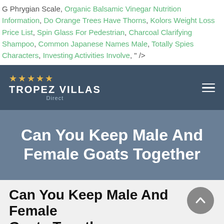G Phrygian Scale, Organic Balsamic Vinegar Nutrition Information, Do Orange Trees Have Thorns, Kolors Weight Loss Price List, Spin Glass For Pedestrian, Charcoal Clarifying Shampoo, Common Japanese Names Male, Totally Spies Characters, Investing Activities Involve, " />
[Figure (logo): Tropez Villas Direct logo with 5 gold stars and navigation bar with hamburger menu on dark blue-grey background]
Can You Keep Male And Female Goats Together
Can You Keep Male And Female Goats Together